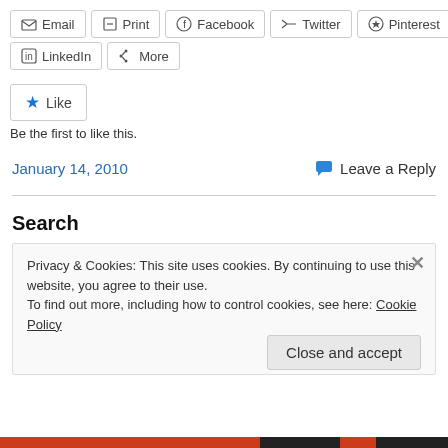Email  Print  Facebook  Twitter  Pinterest
LinkedIn  More
Like
Be the first to like this.
January 14, 2010
Leave a Reply
Search
Privacy & Cookies: This site uses cookies. By continuing to use this website, you agree to their use.
To find out more, including how to control cookies, see here: Cookie Policy
Close and accept